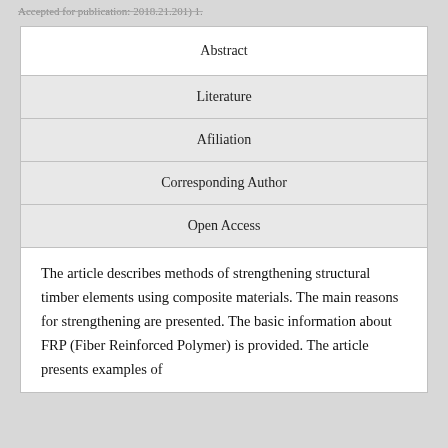Accepted for publication: 2018.21.201) 1.
| Abstract | Literature | Afiliation | Corresponding Author | Open Access |
| --- | --- | --- | --- | --- |
The article describes methods of strengthening structural timber elements using composite materials. The main reasons for strengthening are presented. The basic information about FRP (Fiber Reinforced Polymer) is provided. The article presents examples of